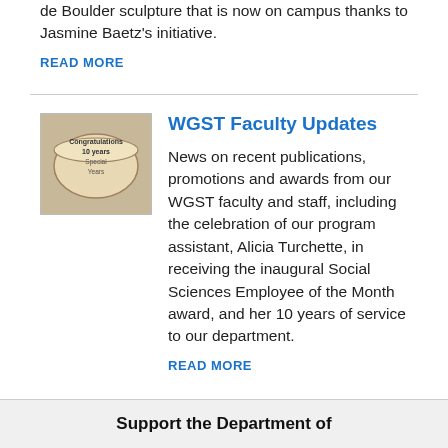de Boulder sculpture that is now on campus thanks to Jasmine Baetz's initiative.
READ MORE
[Figure (photo): Photo of a celebration cake with 'Congratulations 10 years' written on it]
WGST Faculty Updates
News on recent publications, promotions and awards from our WGST faculty and staff, including the celebration of our program assistant, Alicia Turchette, in receiving the inaugural Social Sciences Employee of the Month award, and her 10 years of service to our department.
READ MORE
Support the Department of